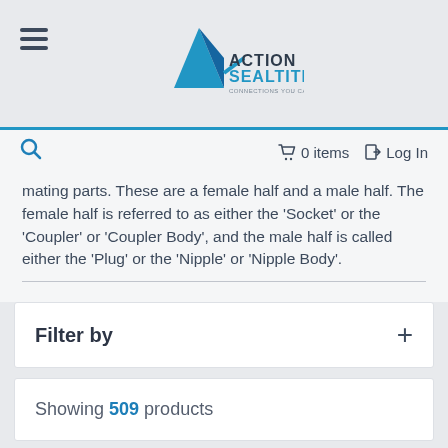[Figure (logo): Action Sealtite logo with blue arrow/triangle and text 'ACTION SEALTITE CONNECTIONS YOU CAN RELY ON']
🔍  🛒 0 items  ⊞ Log In
mating parts. These are a female half and a male half. The female half is referred to as either the 'Socket' or the 'Coupler' or 'Coupler Body', and the male half is called either the 'Plug' or the 'Nipple' or 'Nipple Body'.
Filter by
Showing 509 products